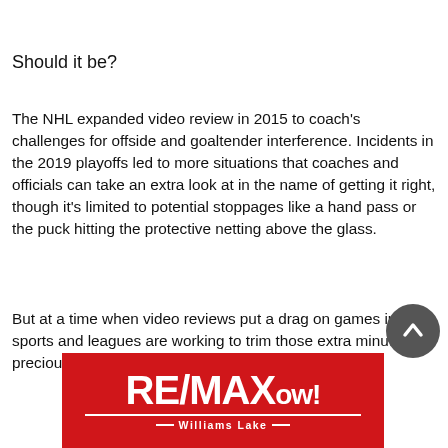Should it be?
The NHL expanded video review in 2015 to coach's challenges for offside and goaltender interference. Incidents in the 2019 playoffs led to more situations that coaches and officials can take an extra look at in the name of getting it right, though it's limited to potential stoppages like a hand pass or the puck hitting the protective netting above the glass.
But at a time when video reviews put a drag on games in all sports and leagues are working to trim those extra minutes of precious time, there's hardly an appetite for the NHL
[Figure (logo): RE/MAX ow! Williams Lake advertisement banner — red background with white RE/MAX logo text and 'Williams Lake' subtitle]
[Figure (other): Scroll-to-top circular button with upward arrow]